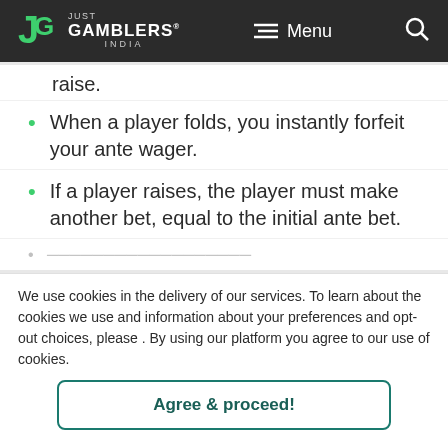JG JUST GAMBLERS® INDIA | Menu | Search
raise.
When a player folds, you instantly forfeit your ante wager.
If a player raises, the player must make another bet, equal to the initial ante bet.
We use cookies in the delivery of our services. To learn about the cookies we use and information about your preferences and opt-out choices, please . By using our platform you agree to our use of cookies.
Agree & proceed!